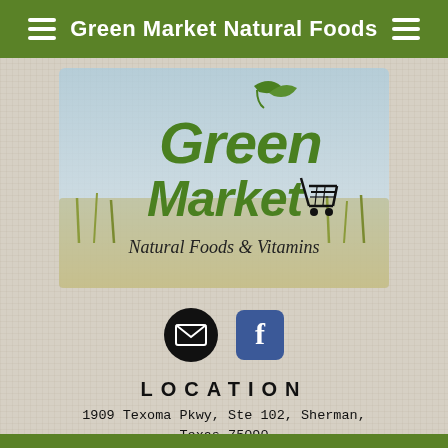Green Market Natural Foods
[Figure (logo): Green Market Natural Foods & Vitamins logo with green stylized text, wheat field background, and shopping cart icon]
[Figure (infographic): Email icon (black circle with envelope) and Facebook icon (blue rounded square with f)]
LOCATION
1909 Texoma Pkwy, Ste 102, Sherman, Texas 75090
M-F, 9-7 Sat, 9-6 Sun, 10-5
(903) 892-8667